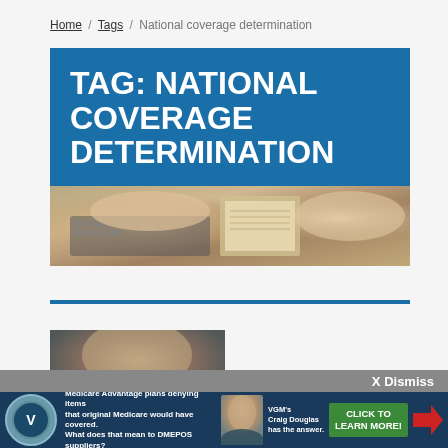Home / Tags / National coverage determination
TAG: NATIONAL COVERAGE DETERMINATION
[Figure (photo): Person typing on laptop with notebook and documents, partial view from above]
[Figure (photo): Partial image of a person's head, article thumbnail]
X Dismiss
[Figure (infographic): VGM advertisement banner: Medicare Advantage plans denying items that original Medicare would have covered. What does that mean to DMEPOS suppliers? VGM's Craig Douglas has the answer. CLICK TO LEARN MORE!]